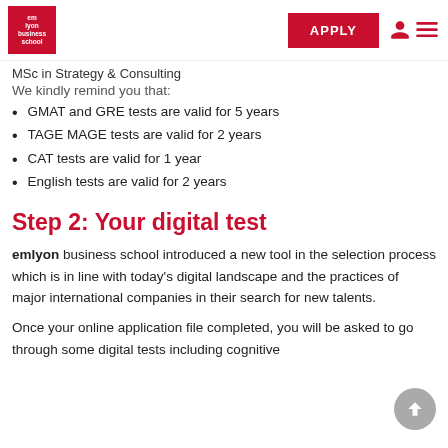emlyon business school | APPLY
MSc in Strategy & Consulting
We kindly remind you that:
GMAT and GRE tests are valid for 5 years
TAGE MAGE tests are valid for 2 years
CAT tests are valid for 1 year
English tests are valid for 2 years
Step 2: Your digital test
emlyon business school introduced a new tool in the selection process which is in line with today's digital landscape and the practices of major international companies in their search for new talents.
Once your online application file completed, you will be asked to go through some digital tests including cognitive